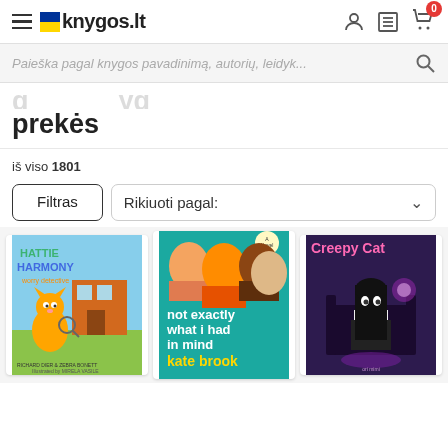knygos.lt
Paieška pagal knygos pavadinimą, autorių, leidyk...
prekės
iš viso 1801
Filtras
Rikiuoti pagal:
[Figure (illustration): Book cover: Hattie Harmony Worry Detective – cartoon cat with magnifying glass]
[Figure (illustration): Book cover: not exactly what i had in mind by kate brook – colorful illustrated faces]
[Figure (illustration): Book cover: Creepy Cat – anime style black-haired girl sitting in gothic room]